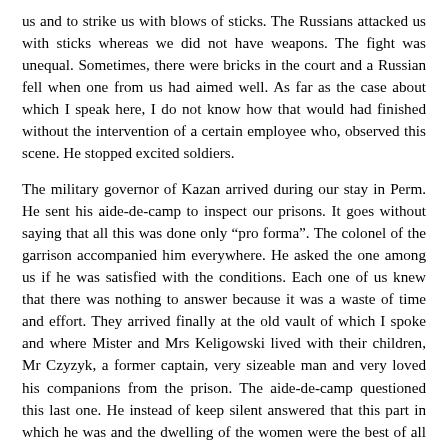us and to strike us with blows of sticks. The Russians attacked us with sticks whereas we did not have weapons. The fight was unequal. Sometimes, there were bricks in the court and a Russian fell when one from us had aimed well. As far as the case about which I speak here, I do not know how that would had finished without the intervention of a certain employee who, observed this scene. He stopped excited soldiers.
The military governor of Kazan arrived during our stay in Perm. He sent his aide-de-camp to inspect our prisons. It goes without saying that all this was done only "pro forma". The colonel of the garrison accompanied him everywhere. He asked the one among us if he was satisfied with the conditions. Each one of us knew that there was nothing to answer because it was a waste of time and effort. They arrived finally at the old vault of which I spoke and where Mister and Mrs Keligowski lived with their children, Mr Czyzyk, a former captain, very sizeable man and very loved his companions from the prison. The aide-de-camp questioned this last one. He instead of keep silent answered that this part in which he was and the dwelling of the women were the best of all the parts of the prison. His answer was very ironic. The aide-de-camp did not have to look further. Czyzyk prepared himself well to confront the visitors. The aide-de-camp had turned back with painful expression on his face. When he was gone, the colonel caught Czyzyk by the chest and sharply approached him for having dared to express